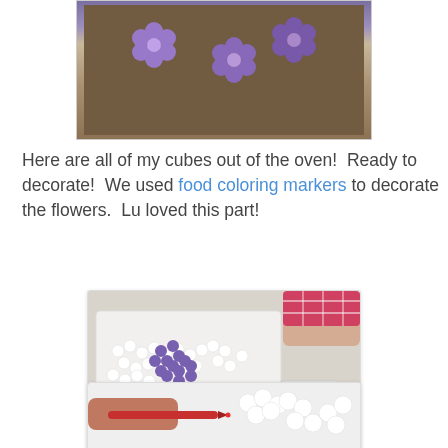[Figure (photo): Purple fondant/sugar flowers on a dark baking tray, viewed from above]
Here are all of my cubes out of the oven!  Ready to decorate!  We used food coloring markers to decorate the flowers.  Lu loved this part!
[Figure (photo): A tray of white and purple sugar cube flowers on a white cutting board, with colorful food coloring markers in a bag beside them, and a child's hand visible]
[Figure (photo): A red food coloring marker being used to color white sugar cube flowers, close-up view]